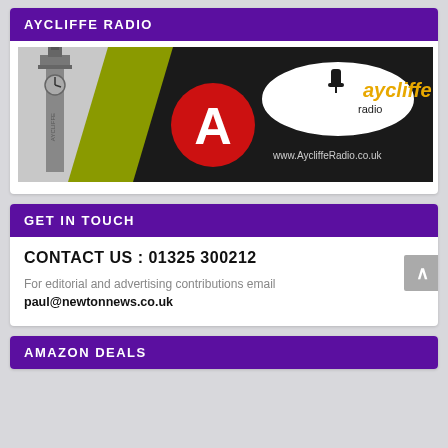AYCLIFFE RADIO
[Figure (logo): Aycliffe Radio banner with clock tower on left, red circle with white A logo in center, and 'aycliffe radio' text with www.AycliffeRadio.co.uk on dark background]
GET IN TOUCH
CONTACT US : 01325 300212
For editorial and advertising contributions email paul@newtonnews.co.uk
AMAZON DEALS